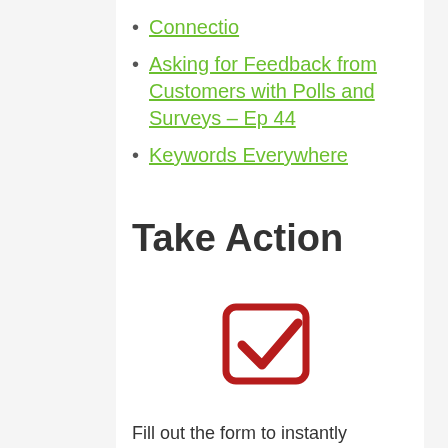Connectio
Asking for Feedback from Customers with Polls and Surveys – Ep 44
Keywords Everywhere
Take Action
[Figure (illustration): A red checkbox icon with a checkmark inside a rounded square]
Fill out the form to instantly download the